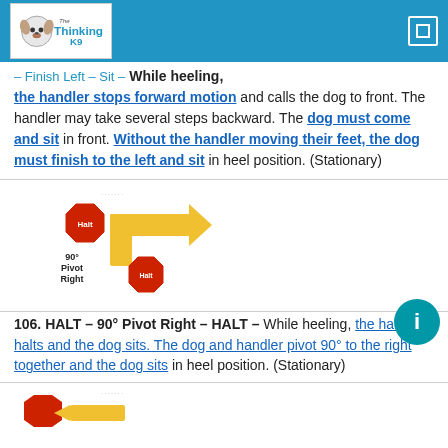The Thinking K9
– Finish Left – Sit – While heeling, the handler stops forward motion and calls the dog to front. The handler may take several steps backward. The dog must come and sit in front. Without the handler moving their feet, the dog must finish to the left and sit in heel position. (Stationary)
[Figure (illustration): Diagram showing 90° Pivot Right with a red Halt octagon sign, a yellow right-angle arrow pointing right, and another red Halt octagon. Text reads '90° Pivot Right'.]
106. HALT – 90° Pivot Right – HALT – While heeling, the handler halts and the dog sits. The dog and handler pivot 90° to the right together and the dog sits in heel position. (Stationary)
[Figure (illustration): Partial diagram at bottom showing a red octagon and a yellow arrow, beginning of next exercise illustration.]